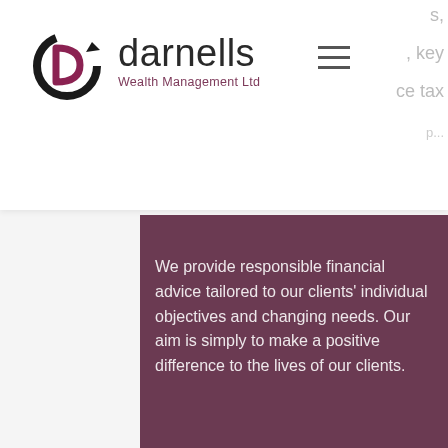[Figure (logo): Darnells Wealth Management Ltd logo with circular arrow icon and company name]
We provide responsible financial advice tailored to our clients' individual objectives and changing needs. Our aim is simply to make a positive difference to the lives of our clients.
We use cookies and similar technologies to enable services and functionality on our site and to understand your interaction with our service. By clicking on accept, you agree to our use of such technologies for marketing and analytics. See Privacy Policy